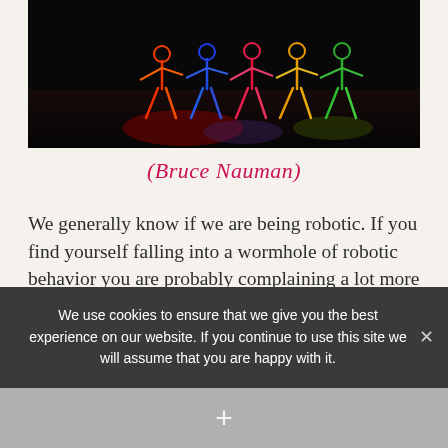[Figure (photo): Neon light art figures of people on a dark stage floor with colorful reflections, by Bruce Nauman]
(Bruce Nauman)
We generally know if we are being robotic. If you find yourself falling into a wormhole of robotic behavior you are probably complaining a lot more than usual about certain things and doing nothing about them, feeling stuck in situations that you feel you
We use cookies to ensure that we give you the best experience on our website. If you continue to use this site we will assume that you are happy with it.